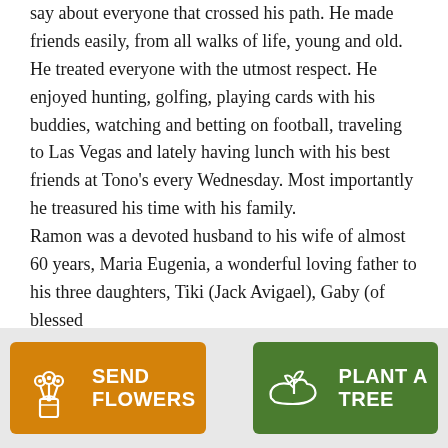say about everyone that crossed his path. He made friends easily, from all walks of life, young and old. He treated everyone with the utmost respect. He enjoyed hunting, golfing, playing cards with his buddies, watching and betting on football, traveling to Las Vegas and lately having lunch with his best friends at Tono's every Wednesday. Most importantly he treasured his time with his family.

Ramon was a devoted husband to his wife of almost 60 years, Maria Eugenia, a wonderful loving father to his three daughters, Tiki (Jack Avigael), Gaby (of blessed
[Figure (other): Two call-to-action buttons: orange 'SEND FLOWERS' button with flower bouquet icon, and green 'PLANT A TREE' button with seedling/hand icon]